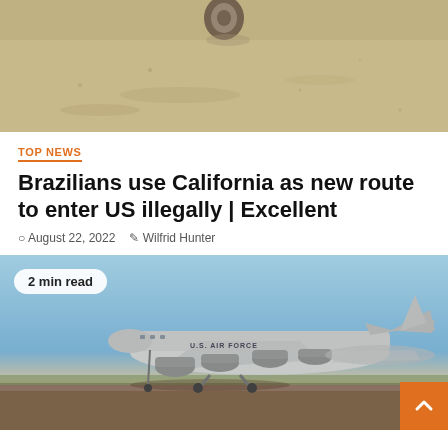[Figure (photo): Top portion of a photo showing a sandy/dirt ground with what appears to be a tire or coil object in the center, partially cropped at top]
TOP NEWS
Brazilians use California as new route to enter US illegally | Excellent
August 22, 2022   Wilfrid Hunter
[Figure (photo): Photo of a U.S. Air Force military cargo aircraft (C-17 Globemaster) on a tarmac/runway with blue sky in background and red/brown ground visible. A '2 min read' badge is overlaid top-left and an orange back-to-top arrow button is at bottom-right.]